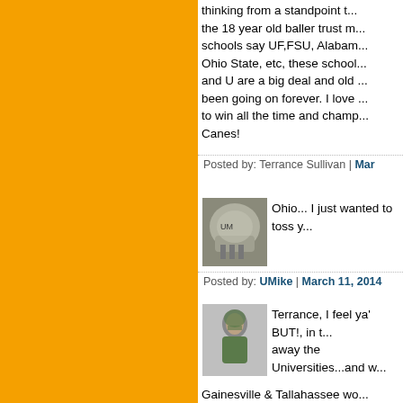thinking from a standpoint... the 18 year old baller trust m... schools say UF,FSU, Alabama, Ohio State, etc, these school... and U are a big deal and old... been going on forever. I love... to win all the time and champ... Canes!
Posted by: Terrance Sullivan | Mar...
[Figure (photo): Football helmet avatar image]
Ohio... I just wanted to toss y...
Posted by: UMike | March 11, 2014
[Figure (photo): Football player avatar image]
Terrance, I feel ya' BUT!, in t... away the Universities...and w...
Gainesville & Tallahassee wo... FSU.
Take away UM, and Miami, w...
Posted by: CaneRock | March 11, 2...